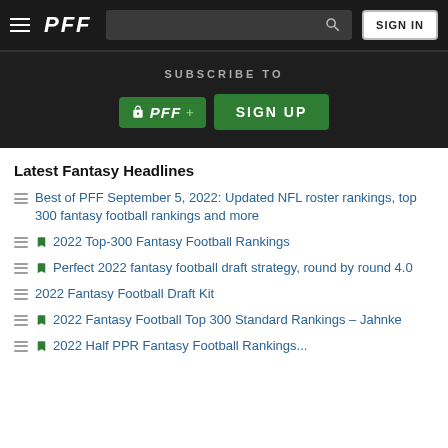PFF — navigation bar with hamburger menu, search, and SIGN IN button
[Figure (infographic): Subscribe to PFF+ banner with SIGN UP button]
Latest Fantasy Headlines
Best of PFF September 5, 2022: Updated NFL roster rankings, top 300 fantasy football rankings and more
2022 Top-300 Fantasy Football Rankings
Perfect 2022 fantasy football draft strategy, round by round 4.0
2022 Fantasy Football Draft Kit
2022 Fantasy Football Top 300 Standard Rankings – Jahnke
2022 Half PPR Fantasy Football Rankings... (partial)